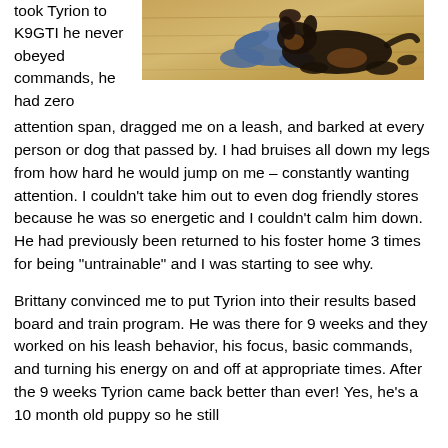took Tyrion to K9GTI he never obeyed commands, he had zero
[Figure (photo): Person lying on a wooden floor hugging a large black and tan dog (appears to be a Doberman or similar breed)]
attention span, dragged me on a leash, and barked at every person or dog that passed by. I had bruises all down my legs from how hard he would jump on me – constantly wanting attention. I couldn't take him out to even dog friendly stores because he was so energetic and I couldn't calm him down. He had previously been returned to his foster home 3 times for being "untrainable" and I was starting to see why.
Brittany convinced me to put Tyrion into their results based board and train program. He was there for 9 weeks and they worked on his leash behavior, his focus, basic commands, and turning his energy on and off at appropriate times. After the 9 weeks Tyrion came back better than ever! Yes, he's a 10 month old puppy so he still